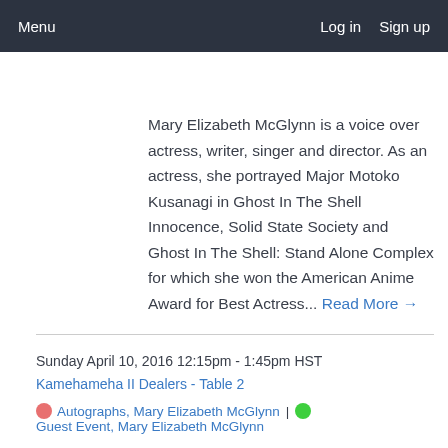Menu | Log in  Sign up
Mary Elizabeth McGlynn is a voice over actress, writer, singer and director. As an actress, she portrayed Major Motoko Kusanagi in Ghost In The Shell Innocence, Solid State Society and Ghost In The Shell: Stand Alone Complex for which she won the American Anime Award for Best Actress... Read More →
Sunday April 10, 2016 12:15pm - 1:45pm HST
Kamehameha II Dealers - Table 2
Autographs, Mary Elizabeth McGlynn | Guest Event, Mary Elizabeth McGlynn